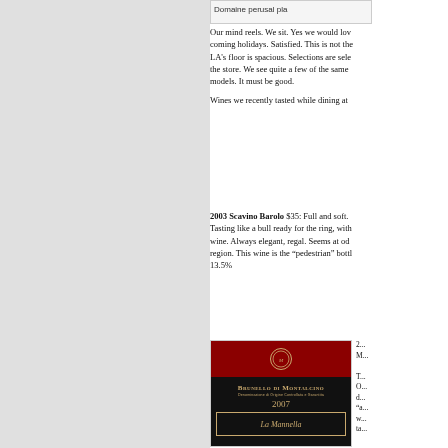[Figure (screenshot): Top image box with text 'Domaine perusal pla...']
Our mind reels. We sit. Yes we would lov coming holidays. Satisfied. This is not the LA's floor is spacious. Selections are sele the store. We see quite a few of the same models. It must be good.
Wines we recently tasted while dining at
2003 Scavino Barolo $35: Full and soft. Tasting like a bull ready for the ring, with wine. Always elegant, regal. Seems at oc region. This wine is the “pedestrian” bot 13.5%
[Figure (photo): Wine label for La Mannella Brunello di Montalcino 2007]
2... M... T... O... d... "a... w... ta...